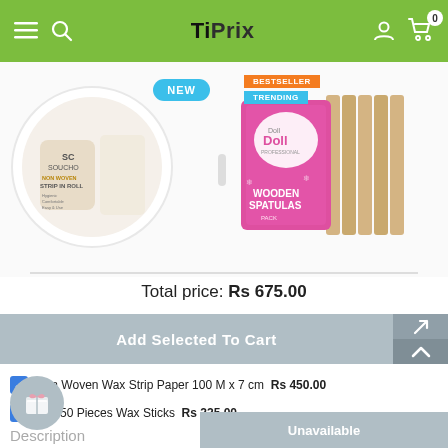TiPrix
[Figure (photo): Soucho Non Woven Strip In Roll product in circular white packaging with NEW badge, showing legs being waxed]
[Figure (photo): Doll Professional Wooden Spatulas product showing pink box with wooden sticks, BESTSELLER and TRENDING tags]
Total price: Rs 675.00
Add Selected To Cart
Non Woven Wax Strip Paper 100 M x 7 cm  Rs 450.00
Doll 50 Pieces Wax Sticks  Rs 225.00
Description
Unavailable